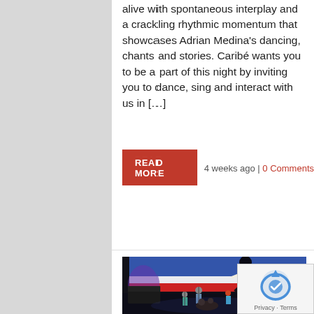alive with spontaneous interplay and a crackling rhythmic momentum that showcases Adrian Medina's dancing, chants and stories. Caribé wants you to be a part of this night by inviting you to dance, sing and interact with us in […]
READ MORE   4 weeks ago | 0 Comments
[Figure (photo): Concert photo showing a jazz/latin band performing on stage with musicians playing guitar, trumpet, congas and other instruments. Behind them is a large projection screen showing a dancer in silhouette. Purple stage lighting on the left.]